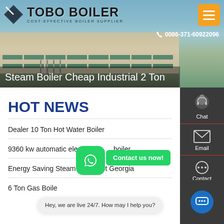[Figure (screenshot): Tobo Boiler website header with company logo, building photo background, menu button, phone number, and page title overlay reading 'Steam Boiler Cheap Industrial 2 Ton']
Steam Boiler Cheap Industrial 2 Ton
HOT NEWS
Dealer 10 Ton Hot Water Boiler
9360 kw automatic electric steam boiler
Energy Saving Steam Boiler 20t Georgia
6 Ton Gas Boiler